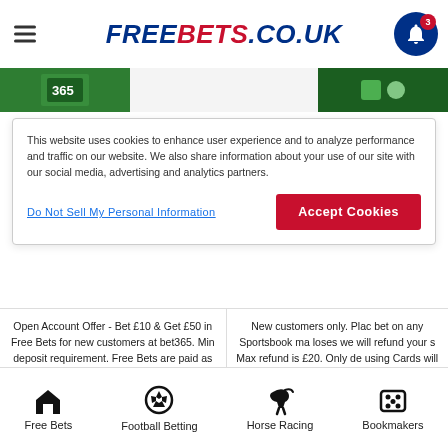FREEBETS.CO.UK
[Figure (screenshot): Green banner strip with bookmaker logos]
This website uses cookies to enhance user experience and to analyze performance and traffic on our website. We also share information about your use of our site with our social media, advertising and analytics partners.
Do Not Sell My Personal Information
Accept Cookies
Open Account Offer - Bet £10 & Get £50 in Free Bets for new customers at bet365. Min deposit requirement. Free Bets are paid as Bet Credits and are available for use upon settlement of bets to the value of the qualifying deposit. Min odds, bet and payment method exclusions apply. Returns exclude Bet Credits stake. Time limits and T&Cs apply.
New customers only. Plac bet on any Sportsbook ma loses we will refund your s Max refund is £20. Only de using Cards will qualify. £5 free bet will be available t the promotions hub after t bet has been settled & wil 7 days. T&Cs apply. Plea responsibly.
Free Bets  Football Betting  Horse Racing  Bookmakers